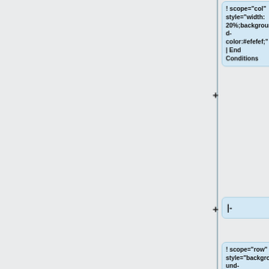! scope="col" style="width: 20%;background-color:#efefef;" | End Conditions
|-
! scope="row" style="background-color:#efefef;"| [[Dunberry, LeBlanc, and Redwood 1987]]
| N.A
|
|
*Standard tee: 14.2 x (0.31 or 0.47) gusset